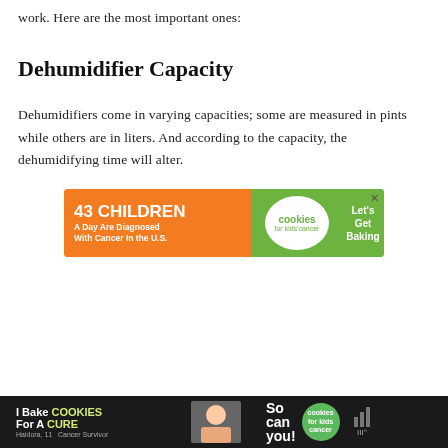work. Here are the most important ones:
Dehumidifier Capacity
Dehumidifiers come in varying capacities; some are measured in pints while others are in liters. And according to the capacity, the dehumidifying time will alter.
[Figure (other): Advertisement banner: '43 CHILDREN A Day Are Diagnosed With Cancer In the U.S.' with Cookies for Kids' Cancer branding and 'Let's Get Baking' call to action]
[Figure (other): Bottom footer advertisement bar: 'I Bake COOKIES For A CURE' with Cookies for Kids' Cancer branding and 'So can you!' text, featuring a photo of a young cancer survivor named Haidora, 11]